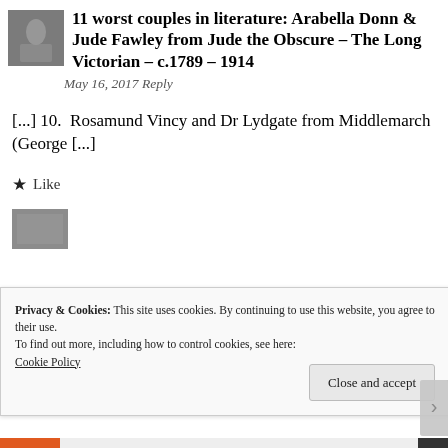11 worst couples in literature: Arabella Donn & Jude Fawley from Jude the Obscure – The Long Victorian – c.1789 – 1914
May 16, 2017 Reply
[...] 10.  Rosamund Vincy and Dr Lydgate from Middlemarch (George [...]
★ Like
[Figure (photo): Small grayscale thumbnail image at top left]
[Figure (photo): Small grayscale thumbnail image in lower section]
Privacy & Cookies: This site uses cookies. By continuing to use this website, you agree to their use.
To find out more, including how to control cookies, see here:
Cookie Policy
Close and accept